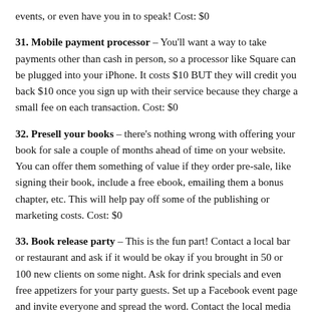events, or even have you in to speak!  Cost:  $0
31. Mobile payment processor – You'll want a way to take payments other than cash in person, so a processor like Square can be plugged into your iPhone.  It costs $10 BUT they will credit you back $10 once you sign up with their service because they charge a small fee on each transaction.  Cost:  $0
32. Presell your books – there's nothing wrong with offering your book for sale a couple of months ahead of time on your website.  You can offer them something of value if they order pre-sale, like signing their book, include a free ebook, emailing them a bonus chapter, etc.  This will help pay off some of the publishing or marketing costs.  Cost: $0
33. Book release party – This is the fun part!  Contact a local bar or restaurant and ask if it would be okay if you brought in 50 or 100 new clients on some night.  Ask for drink specials and even free appetizers for your party guests.  Set up a Facebook event page and invite everyone and spread the word.  Contact the local media to cover it,